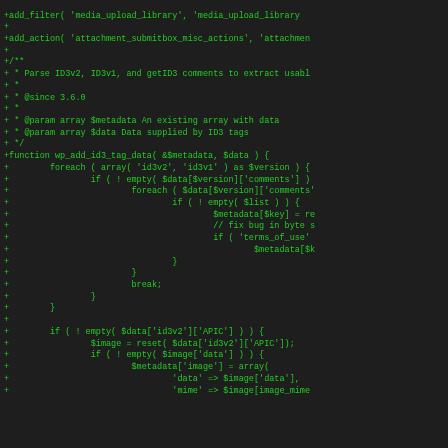[Figure (screenshot): Code diff snippet showing PHP code additions (green lines with '+' prefix) on a dark background. The code includes add_filter, add_action calls and a function wp_add_id3_tag_data that parses ID3v2, ID3v1, and getID3 comments, with nested foreach and if statements handling audio metadata.]